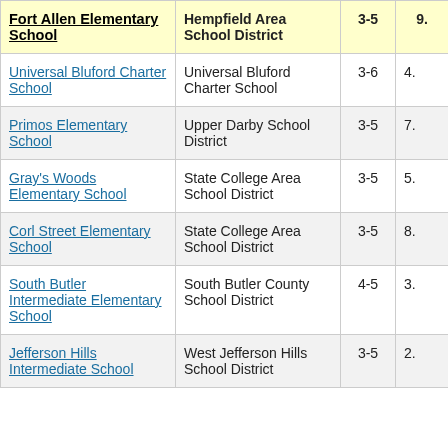| School | District | Grades | Value |
| --- | --- | --- | --- |
| Fort Allen Elementary School | Hempfield Area School District | 3-5 | 9. |
| Universal Bluford Charter School | Universal Bluford Charter School | 3-6 | 4. |
| Primos Elementary School | Upper Darby School District | 3-5 | 7. |
| Gray's Woods Elementary School | State College Area School District | 3-5 | 5. |
| Corl Street Elementary School | State College Area School District | 3-5 | 8. |
| South Butler Intermediate Elementary School | South Butler County School District | 4-5 | 3. |
| Jefferson Hills Intermediate School | West Jefferson Hills School District | 3-5 | 2. |